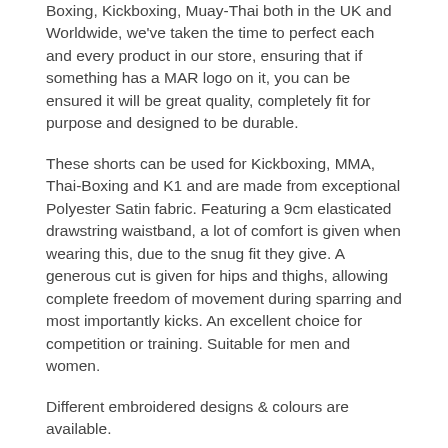Boxing, Kickboxing, Muay-Thai both in the UK and Worldwide, we've taken the time to perfect each and every product in our store, ensuring that if something has a MAR logo on it, you can be ensured it will be great quality, completely fit for purpose and designed to be durable.
These shorts can be used for Kickboxing, MMA, Thai-Boxing and K1 and are made from exceptional Polyester Satin fabric. Featuring a 9cm elasticated drawstring waistband, a lot of comfort is given when wearing this, due to the snug fit they give. A generous cut is given for hips and thighs, allowing complete freedom of movement during sparring and most importantly kicks. An excellent choice for competition or training. Suitable for men and women.
Different embroidered designs & colours are available.
Available in Junior and Senior Sizes
Excellent for training and competitions